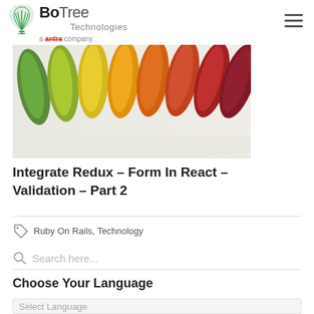BoTree Technologies a antra company
[Figure (photo): Colorful autumn leaves arranged in a row showing gradient from green to yellow to orange to red against a light background]
Integrate Redux – Form In React – Validation – Part 2
Ruby On Rails, Technology
Search here...
Choose Your Language
Select Language